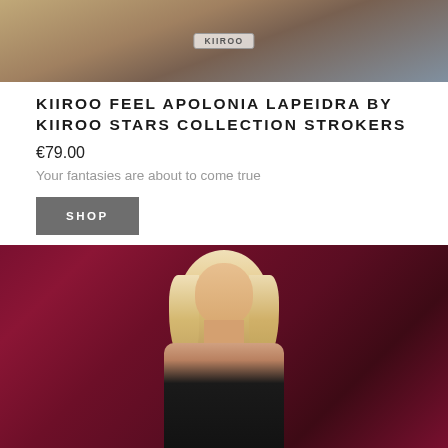[Figure (photo): Top portion of a product photo showing a person near water with a KIIROO logo badge overlay]
KIIROO FEEL APOLONIA LAPEIDRA BY KIIROO STARS COLLECTION STROKERS
€79.00
Your fantasies are about to come true
SHOP
[Figure (photo): Photo of a blonde woman in dark lingerie posed against a dark red/burgundy curtain background]